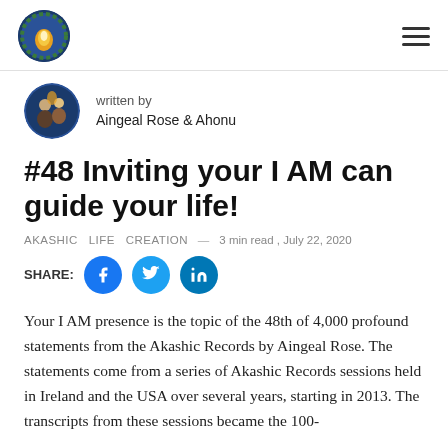Logo and navigation header
written by
Aingeal Rose & Ahonu
#48 Inviting your I AM can guide your life!
AKASHIC  LIFE  CREATION — 3 min read , July 22, 2020
SHARE: [Facebook] [Twitter] [LinkedIn]
Your I AM presence is the topic of the 48th of 4,000 profound statements from the Akashic Records by Aingeal Rose. The statements come from a series of Akashic Records sessions held in Ireland and the USA over several years, starting in 2013. The transcripts from these sessions became the 100-book Anam Cara Tree. The Ahonu & Aingeal Rose...